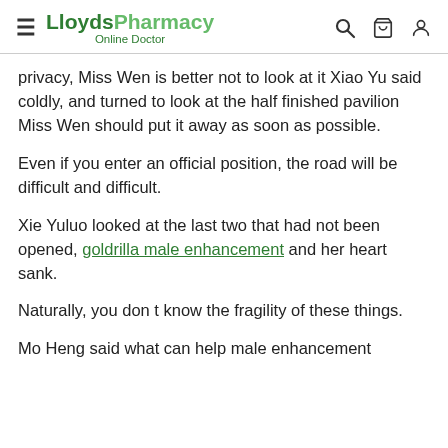LloydsPharmacy Online Doctor
privacy, Miss Wen is better not to look at it Xiao Yu said coldly, and turned to look at the half finished pavilion Miss Wen should put it away as soon as possible.
Even if you enter an official position, the road will be difficult and difficult.
Xie Yuluo looked at the last two that had not been opened, goldrilla male enhancement and her heart sank.
Naturally, you don t know the fragility of these things.
Mo Heng said what can help male enhancement